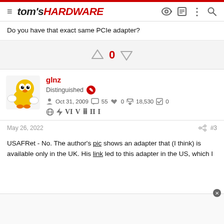tom's HARDWARE
Do you have that exact same PCIe adapter?
0
glnz
Distinguished
Oct 31, 2009   55   0   18,530   0
May 26, 2022   #3
USAFRet - No. The author's pic shows an adapter that (I think) is available only in the UK. His link led to this adapter in the US, which I